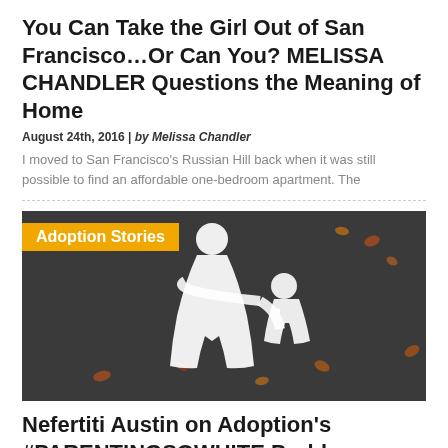You Can Take the Girl Out of San Francisco…Or Can You? MELISSA CHANDLER Questions the Meaning of Home
August 24th, 2016 | by Melissa Chandler
I moved to San Francisco's Russian Hill back when it was still possible to find an affordable one-bedroom apartment. The
[Figure (photo): Photo of a white painted pedestrian crosswalk icon showing an adult figure holding a child's hand, on dark pavement with autumn leaves scattered around. A yellow/orange label overlay reads 'Adoption Stories'.]
Nefertiti Austin on Adoption's #PARENTINGSOWHITE Problem
July 26th, 2016 | by Nefertiti Austin